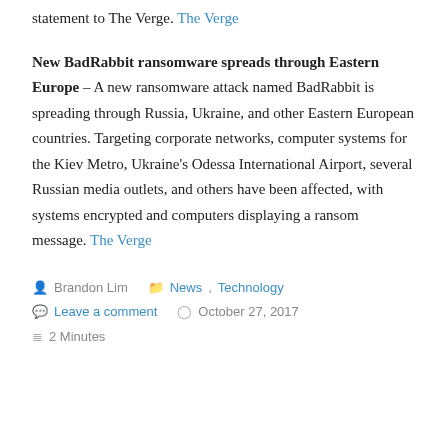statement to The Verge. The Verge
New BadRabbit ransomware spreads through Eastern Europe – A new ransomware attack named BadRabbit is spreading through Russia, Ukraine, and other Eastern European countries. Targeting corporate networks, computer systems for the Kiev Metro, Ukraine's Odessa International Airport, several Russian media outlets, and others have been affected, with systems encrypted and computers displaying a ransom message. The Verge
Brandon Lim   News, Technology   Leave a comment   October 27, 2017   2 Minutes